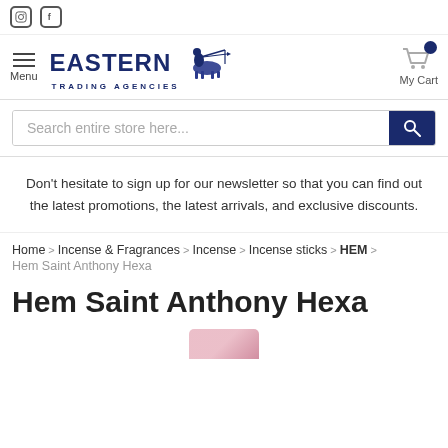Eastern Trading Agencies - social icons: Instagram, Facebook; Menu; My Cart
[Figure (screenshot): Eastern Trading Agencies logo with archer figure]
Search entire store here...
Don't hesitate to sign up for our newsletter so that you can find out the latest promotions, the latest arrivals, and exclusive discounts.
Home > Incense & Fragrances > Incense > Incense sticks > HEM >
Hem Saint Anthony Hexa
Hem Saint Anthony Hexa
[Figure (photo): Partial product image of Hem Saint Anthony Hexa incense package, pink/red color, cropped at bottom]